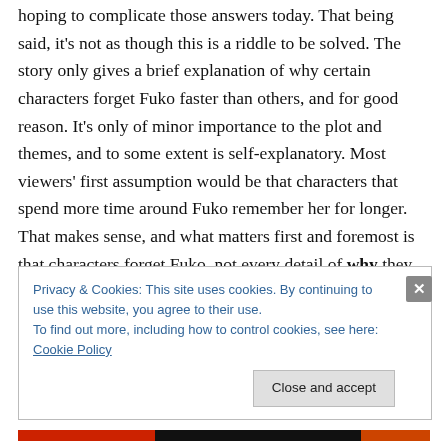hoping to complicate those answers today. That being said, it's not as though this is a riddle to be solved. The story only gives a brief explanation of why certain characters forget Fuko faster than others, and for good reason. It's only of minor importance to the plot and themes, and to some extent is self-explanatory. Most viewers' first assumption would be that characters that spend more time around Fuko remember her for longer. That makes sense, and what matters first and foremost is that characters forget Fuko, not every detail of why they forget.
Privacy & Cookies: This site uses cookies. By continuing to use this website, you agree to their use.
To find out more, including how to control cookies, see here: Cookie Policy